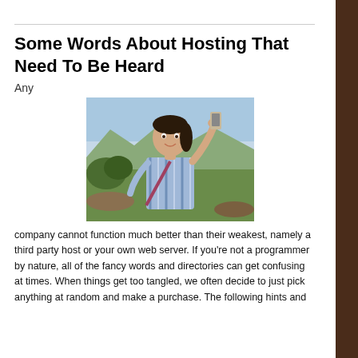Some Words About Hosting That Need To Be Heard
Any
[Figure (photo): A woman taking a selfie outdoors on a hilltop with a scenic city view in the background. She is wearing a striped blue shirt and has a shoulder bag.]
company cannot function much better than their weakest, namely a third party host or your own web server. If you're not a programmer by nature, all of the fancy words and directories can get confusing at times. When things get too tangled, we often decide to just pick anything at random and make a purchase. The following hints and